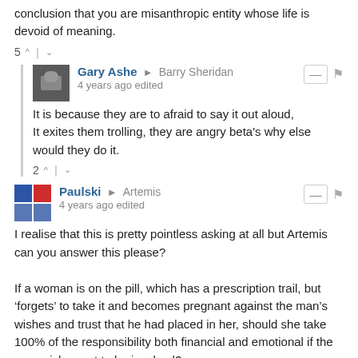conclusion that you are misanthropic entity whose life is devoid of meaning.
5 ∧ | ∨
Gary Ashe → Barry Sheridan
4 years ago edited
It is because they are to afraid to say it out aloud,
It exites them trolling, they are angry beta's why else would they do it.
2 ∧ | ∨
Paulski → Artemis
4 years ago edited
I realise that this is pretty pointless asking at all but Artemis can you answer this please?

If a woman is on the pill, which has a prescription trail, but 'forgets' to take it and becomes pregnant against the man's wishes and trust that he had placed in her, should she take 100% of the responsibility both financial and emotional if the man wishes not to be involved?

If so which the man should be involved then he should......